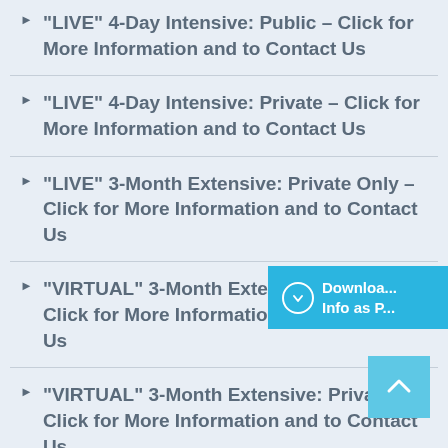"LIVE" 4-Day Intensive: Public – Click for More Information and to Contact Us
"LIVE" 4-Day Intensive: Private – Click for More Information and to Contact Us
"LIVE" 3-Month Extensive: Private Only – Click for More Information and to Contact Us
"VIRTUAL" 3-Month Extensive: Public – Click for More Information and to Contact Us
"VIRTUAL" 3-Month Extensive: Private – Click for More Information and to Contact Us